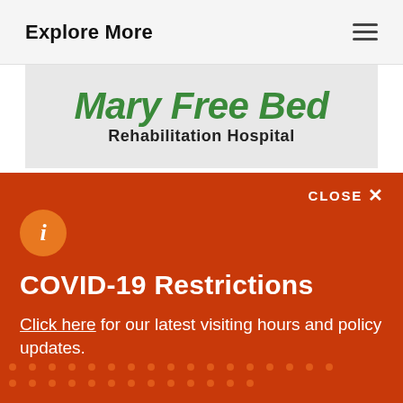Explore More
[Figure (logo): Mary Free Bed Rehabilitation Hospital logo — green italic text 'Mary Free Bed' above dark text 'Rehabilitation Hospital']
CLOSE ×
[Figure (infographic): Orange circle with white italic 'i' information icon]
COVID-19 Restrictions
Click here for our latest visiting hours and policy updates.